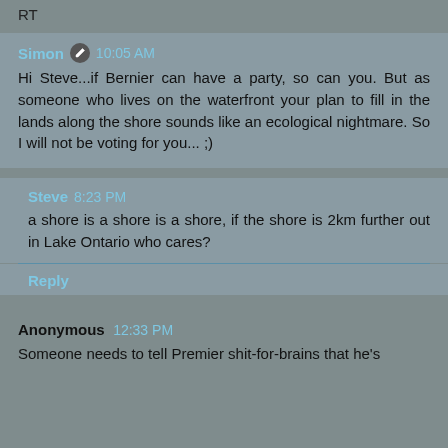RT
Simon 10:05 AM
Hi Steve...if Bernier can have a party, so can you. But as someone who lives on the waterfront your plan to fill in the lands along the shore sounds like an ecological nightmare. So I will not be voting for you... ;)
Steve 8:23 PM
a shore is a shore is a shore, if the shore is 2km further out in Lake Ontario who cares?
Reply
Anonymous 12:33 PM
Someone needs to tell Premier shit-for-brains that he's